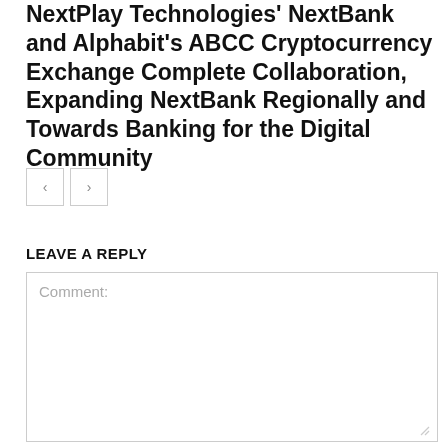NextPlay Technologies' NextBank and Alphabit's ABCC Cryptocurrency Exchange Complete Collaboration, Expanding NextBank Regionally and Towards Banking for the Digital Community
[Figure (other): Navigation previous/next arrow buttons (left and right chevron buttons)]
LEAVE A REPLY
Comment: